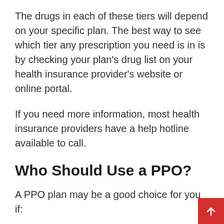The drugs in each of these tiers will depend on your specific plan. The best way to see which tier any prescription you need is in is by checking your plan’s drug list on your health insurance provider’s website or online portal.
If you need more information, most health insurance providers have a help hotline available to call.
Who Should Use a PPO?
A PPO plan may be a good choice for you if:
You have existing doctors that you like and want to continue seeing, but are not able